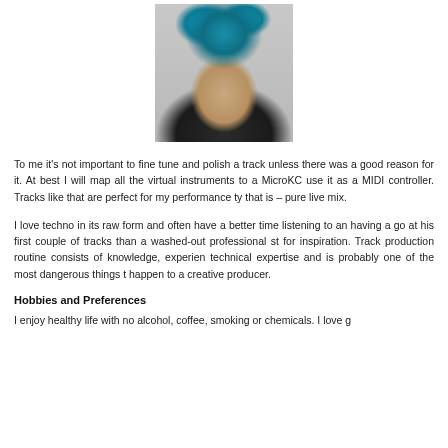[Figure (photo): A man with blue curly hair wearing a dark shirt, resting his chin on his hand, photographed against a grey background.]
To me it's not important to fine tune and polish a track unless there was a good reason for it. At best I will map all the virtual instruments to a MicroKC use it as a MIDI controller. Tracks like that are perfect for my performance ty that is – pure live mix.
I love techno in its raw form and often have a better time listening to an having a go at his first couple of tracks than a washed-out professional st for inspiration. Track production routine consists of knowledge, experien technical expertise and is probably one of the most dangerous things t happen to a creative producer.
Hobbies and Preferences
I enjoy healthy life with no alcohol, coffee, smoking or chemicals. I love g